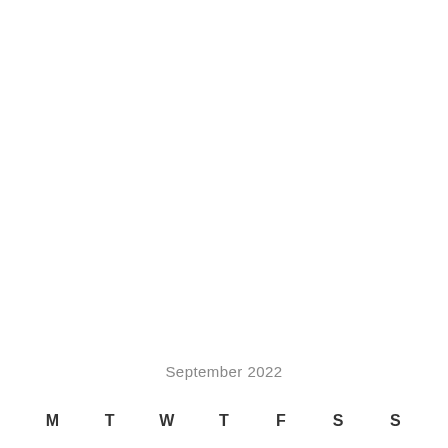September 2022
M  T  W  T  F  S  S